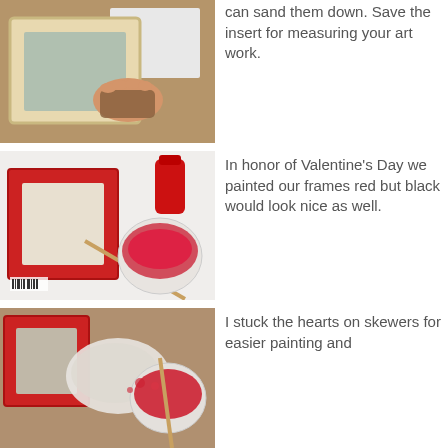[Figure (photo): A hand sanding a wooden picture frame on a cork board, with a white paper insert nearby.]
can sand them down. Save the insert for measuring your art work.
[Figure (photo): A red painted picture frame lying next to a container of red paint with a brush, and a bottle of red craft paint, on a white surface.]
In honor of Valentine's Day we painted our frames red but black would look nice as well.
[Figure (photo): A red picture frame next to a paint container with red paint and a brush, on a craft table.]
I stuck the hearts on skewers for easier painting and